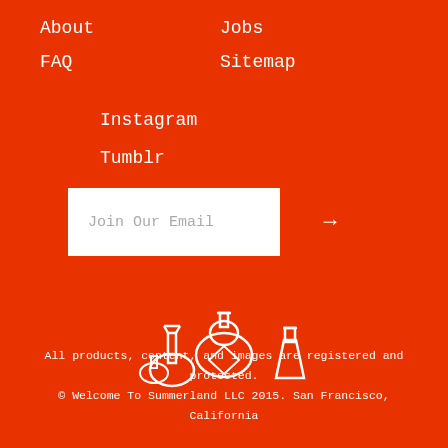About
Jobs
FAQ
Sitemap
Instagram
Tumblr
Join Our Email →
[Figure (illustration): White line drawing of chemistry/perfume bottles and vessels on orange background]
All products, content, and images are registered and protected.
© Welcome To Summerland LLC 2015. San Francisco, California